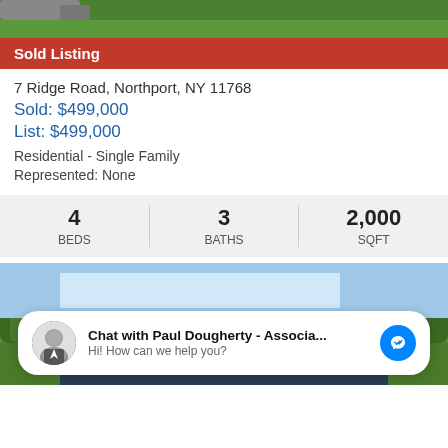[Figure (photo): Top portion of a house exterior with green lawn and grass visible, partially cut off at top]
Sold Listing
7 Ridge Road, Northport, NY 11768
Sold: $499,000
List: $499,000
Residential - Single Family
Represented: None
| BEDS | BATHS | SQFT |
| --- | --- | --- |
| 4 | 3 | 2,000 |
[Figure (photo): Exterior photo of a house with blue sky, trees, and roof visible]
Chat with Paul Dougherty - Associa...
Hi! How can we help you?